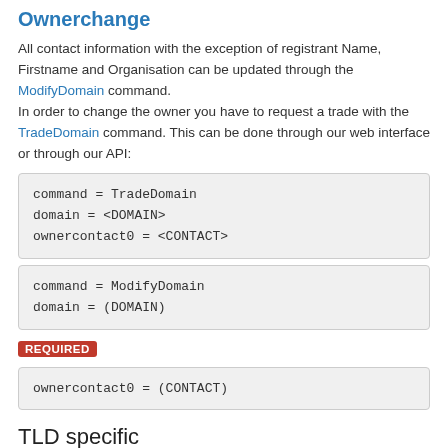Ownerchange
All contact information with the exception of registrant Name, Firstname and Organisation can be updated through the ModifyDomain command.
In order to change the owner you have to request a trade with the TradeDomain command. This can be done through our web interface or through our API:
command = TradeDomain
domain = <DOMAIN>
ownercontact0 = <CONTACT>
command = ModifyDomain
domain = (DOMAIN)
REQUIRED
ownercontact0 = (CONTACT)
TLD specific
Authorization code